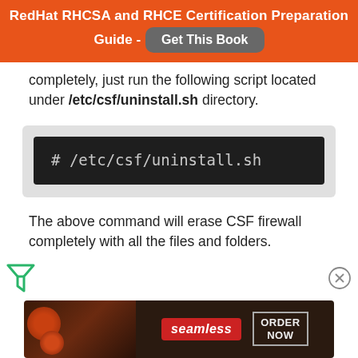RedHat RHCSA and RHCE Certification Preparation Guide - Get This Book
completely, just run the following script located under /etc/csf/uninstall.sh directory.
[Figure (screenshot): Terminal code block showing: # /etc/csf/uninstall.sh]
The above command will erase CSF firewall completely with all the files and folders.
[Figure (other): Advertisement banner for Seamless food delivery service with ORDER NOW button]